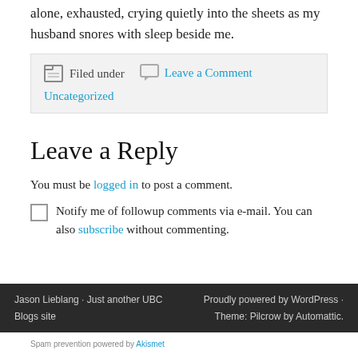alone, exhausted, crying quietly into the sheets as my husband snores with sleep beside me.
Filed under  Leave a Comment  Uncategorized
Leave a Reply
You must be logged in to post a comment.
Notify me of followup comments via e-mail. You can also subscribe without commenting.
Jason Lieblang · Just another UBC Blogs site   Proudly powered by WordPress · Theme: Pilcrow by Automattic.
Spam prevention powered by Akismet